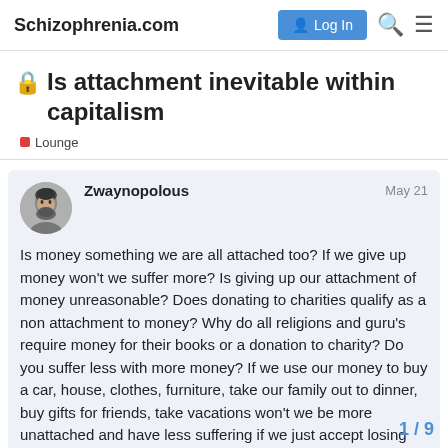Schizophrenia.com | Log In
🔒 Is attachment inevitable within capitalism
Lounge
Zwaynopolous  May 21
Is money something we are all attached too? If we give up money won't we suffer more? Is giving up our attachment of money unreasonable? Does donating to charities qualify as a non attachment to money? Why do all religions and guru's require money for their books or a donation to charity? Do you suffer less with more money? If we use our money to buy a car, house, clothes, furniture, take our family out to dinner, buy gifts for friends, take vacations won't we be more unattached and have less suffering if we just accept losing we lose our job? Is the ideal life living like a
1 / 9